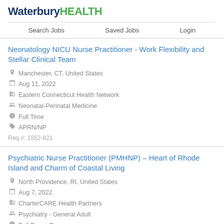WaterburyHEALTH
Search Jobs | Saved Jobs | Login
Neonatology NICU Nurse Practitioner - Work Flexibility and Stellar Clinical Team
Manchester, CT, United States
Aug 11, 2022
Eastern Connecticut Health Network
Neonatal-Perinatal Medicine
Full Time
APRN/NP
Req #: 1852-821
Psychiatric Nurse Practitioner (PMHNP) – Heart of Rhode Island and Charm of Coastal Living
North Providence, RI, United States
Aug 7, 2022
CharterCARE Health Partners
Psychiatry - General Adult
Full Time - Days